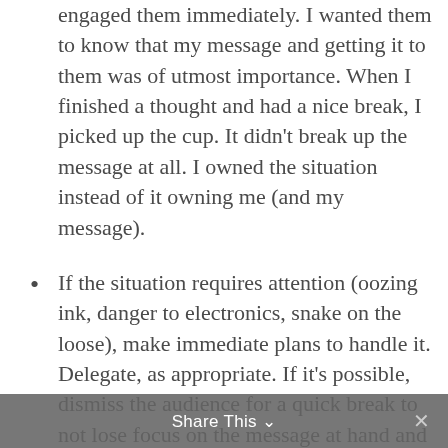engaged them immediately. I wanted them to know that my message and getting it to them was of utmost importance. When I finished a thought and had a nice break, I picked up the cup. It didn't break up the message at all. I owned the situation instead of it owning me (and my message).
If the situation requires attention (oozing ink, danger to electronics, snake on the loose), make immediate plans to handle it. Delegate, as appropriate. If it's possible, dismiss the audience for a quick break to not lose focus on the message at hand and make sure that you can give them all the
Share This